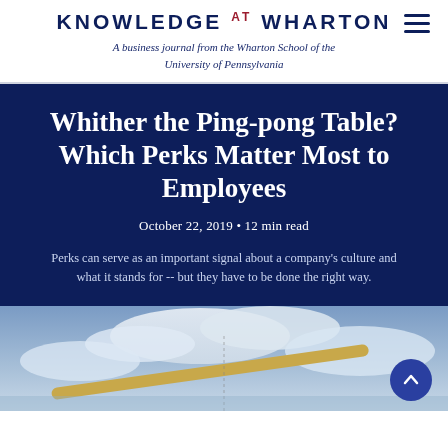KNOWLEDGE AT WHARTON
A business journal from the Wharton School of the University of Pennsylvania
Whither the Ping-pong Table? Which Perks Matter Most to Employees
October 22, 2019 • 12 min read
Perks can serve as an important signal about a company's culture and what it stands for -- but they have to be done the right way.
[Figure (photo): Close-up photo of a ping-pong ball on a table against a cloudy sky background]